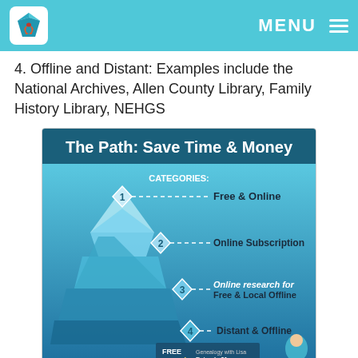MENU
4. Offline and Distant: Examples include the National Archives, Allen County Library, Family History Library, NEHGS
[Figure (infographic): The Path: Save Time & Money infographic showing 4 categories as an iceberg diagram: 1-Free & Online, 2-Online Subscription, 3-Online research for Free & Local Offline, 4-Distant & Offline. www.GenealogyGems.com branding with FREE Genealogy Episode 21 promo.]
www.GenealogyGems.com